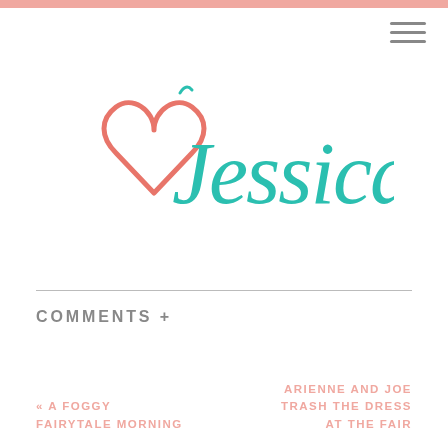[Figure (logo): Heart and Jessica script logo: a salmon/coral outlined heart on the left, with teal cursive text 'Jessica' overlapping on the right]
COMMENTS +
« A FOGGY FAIRYTALE MORNING
ARIENNE AND JOE TRASH THE DRESS AT THE FAIR